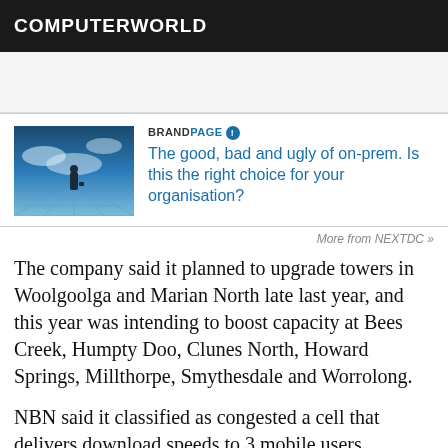COMPUTERWORLD
[Figure (illustration): Ad/promotional area placeholder, light grey background]
[Figure (photo): Person walking through a futuristic data center corridor with bright light and clouds]
BRANDPAGE [icon] The good, bad and ugly of on-prem. Is this the right choice for your organisation?
More from NEXTDC »
The company said it planned to upgrade towers in Woolgoolga and Marian North late last year, and this year was intending to boost capacity at Bees Creek, Humpty Doo, Clunes North, Howard Springs, Millthorpe, Smythesdale and Worrolong.
NBN said it classified as congested a cell that delivers download speeds to 3 mobile users...